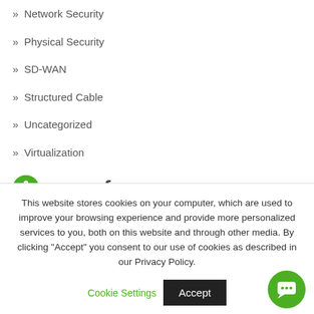» Network Security
» Physical Security
» SD-WAN
» Structured Cable
» Uncategorized
» Virtualization
Sign up for Our Newsletter
This website stores cookies on your computer, which are used to improve your browsing experience and provide more personalized services to you, both on this website and through other media. By clicking "Accept" you consent to our use of cookies as described in our Privacy Policy.
Cookie Settings
Accept